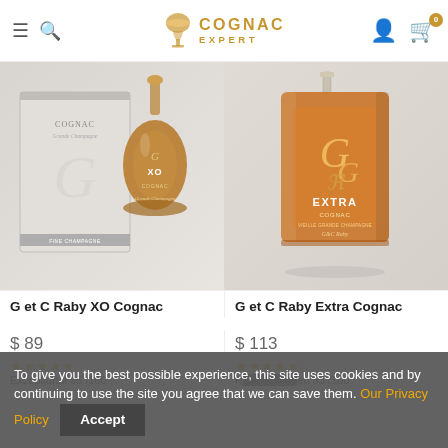Cognac Expert — navigation header with logo, search, user, cart
[Figure (photo): Two cognac product images side by side: left is G et C Raby XO Cognac bottle with box; right is G et C Raby Extra Cognac rectangular decanter bottle]
G et C Raby XO Cognac
G et C Raby Extra Cognac
$ 89
$ 113
Exceptional 95 /100
R...ed 83 /100
To give you the best possible experience, this site uses cookies and by continuing to use the site you agree that we can save them. Our Privacy Policy   Accept